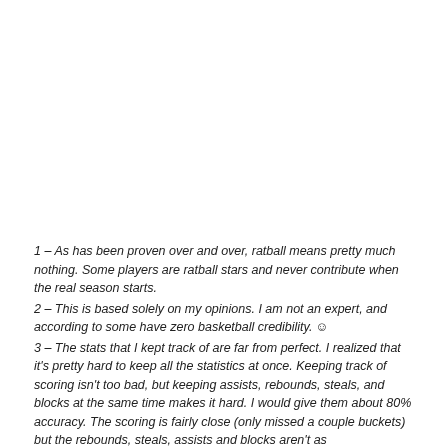1 – As has been proven over and over, ratball means pretty much nothing. Some players are ratball stars and never contribute when the real season starts.
2 – This is based solely on my opinions. I am not an expert, and according to some have zero basketball credibility. ☺
3 – The stats that I kept track of are far from perfect. I realized that it's pretty hard to keep all the statistics at once. Keeping track of scoring isn't too bad, but keeping assists, rebounds, steals, and blocks at the same time makes it hard. I would give them about 80% accuracy. The scoring is fairly close (only missed a couple buckets) but the rebounds, steals, assists and blocks aren't as